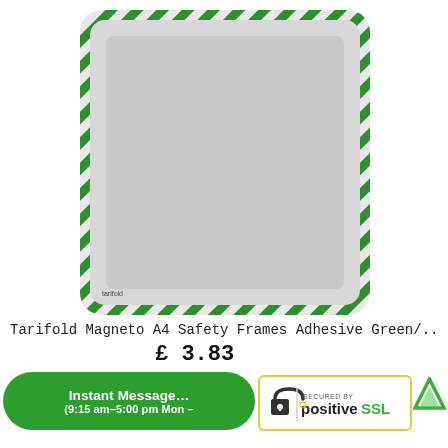[Figure (photo): Product photo of Tarifold Magneto A4 Safety Frames with green and white diagonal striped border frame on a light grey insert background]
Tarifold Magneto A4 Safety Frames Adhesive Green/...
£ 3.83
Instant Message
(9:15 am–5:00 pm Mon –
[Figure (logo): SECURED BY positiveSSL badge with padlock icon]